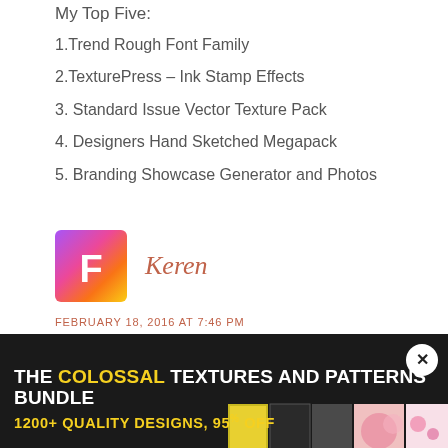My Top Five:
1.Trend Rough Font Family
2.TexturePress – Ink Stamp Effects
3. Standard Issue Vector Texture Pack
4. Designers Hand Sketched Megapack
5. Branding Showcase Generator and Photos
Keren
FEBRUARY 18, 2016 AT 7:46 PM
[Figure (other): Advertisement banner: THE COLOSSAL TEXTURES AND PATTERNS BUNDLE, 1200+ QUALITY DESIGNS, 95% OFF, with close button and product images]
NEXT IN NEWS:
A Colossal Collection of Textures & Patterns to Cover Any Project